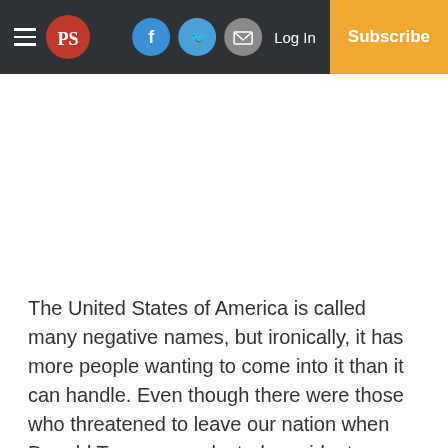PS [logo] | Facebook | Twitter | Email | Log In | Subscribe
The United States of America is called many negative names, but ironically, it has more people wanting to come into it than it can handle. Even though there were those who threatened to leave our nation when Donald Trump was elected president, no one